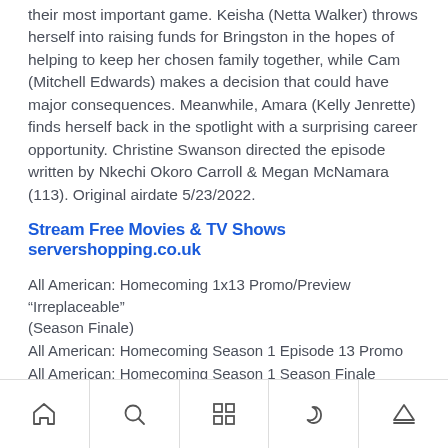their most important game. Keisha (Netta Walker) throws herself into raising funds for Bringston in the hopes of helping to keep her chosen family together, while Cam (Mitchell Edwards) makes a decision that could have major consequences. Meanwhile, Amara (Kelly Jenrette) finds herself back in the spotlight with a surprising career opportunity. Christine Swanson directed the episode written by Nkechi Okoro Carroll & Megan McNamara (113). Original airdate 5/23/2022.
Stream Free Movies & TV Shows servershopping.co.uk
All American: Homecoming 1x13 Promo/Preview "Irreplaceable" (Season Finale)
All American: Homecoming Season 1 Episode 13 Promo
All American: Homecoming Season 1 Season Finale Promo
All American: Homecoming 1x13 Promo "Irreplaceable" (HD) Season Finale
Home | Search | Grid | Night | Upload